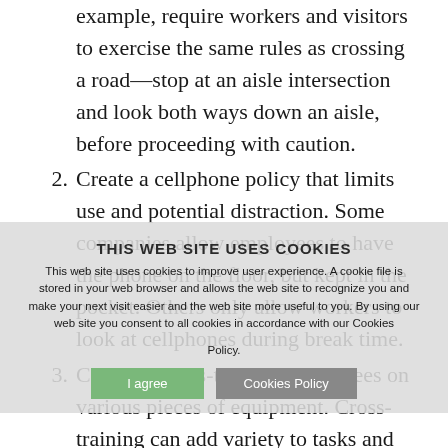example, require workers and visitors to exercise the same rules as crossing a road—stop at an aisle intersection and look both ways down an aisle, before proceeding with caution.
2. Create a cellphone policy that limits use and potential distraction. Some companies allow employees to have the phone on the floor, but kept in the pocket. Others only allow workers to look at cellphones during break time.
3. Consider cross-training employees on various pieces of equipment. Cross-training can add variety to tasks and make people less distracted on the